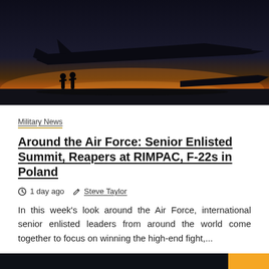[Figure (photo): Silhouette of military aircraft on a tarmac at dusk/sunset with ground crew personnel visible]
Military News
Around the Air Force: Senior Enlisted Summit, Reapers at RIMPAC, F-22s in Poland
1 day ago  Steve Taylor
In this week's look around the Air Force, international senior enlisted leaders from around the world come together to focus on winning the high-end fight,...
[Figure (photo): Partial view of another article image showing a person, dark background]